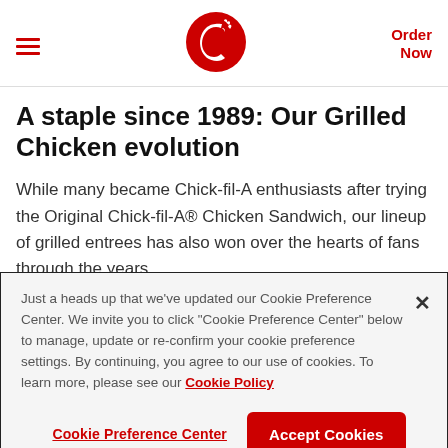Chick-fil-A header with hamburger menu, logo, and Order Now link
A staple since 1989: Our Grilled Chicken evolution
While many became Chick-fil-A enthusiasts after trying the Original Chick-fil-A® Chicken Sandwich, our lineup of grilled entrees has also won over the hearts of fans through the years....
Just a heads up that we've updated our Cookie Preference Center. We invite you to click "Cookie Preference Center" below to manage, update or re-confirm your cookie preference settings. By continuing, you agree to our use of cookies. To learn more, please see our Cookie Policy